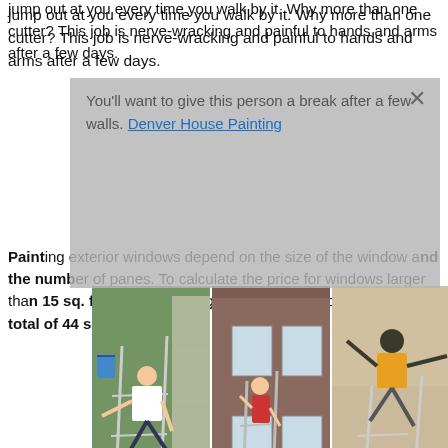jump out at you every time you walk by it. Why more than one cutter? This job is nerve-wracking and painful to hands and arms after a few days.
You'll want to give this person a break after a few walls. Denver House Painting
Painting exterior windows depend on the size of the window and the number of panes. To calculate the price for windows larger than 15 sq. ft., ... width x length ... mullion ... by $84/100 ... total of 44 sq. ...
[Figure (photo): Three photos showing people falling off ladders near houses]
Homeowners ... costs a ...
You'll s... foot to paint concrete. However, expect to pay $2 to $7 per square foot since concrete almost always needs a coat of primer first. Double that price if the concrete requires stripping. Concrete is porous. Sealing it not only helps blend foundations and walls with your home's aesthetic, but also seals it against water. Repairing or resurfacing concrete costs $300 to